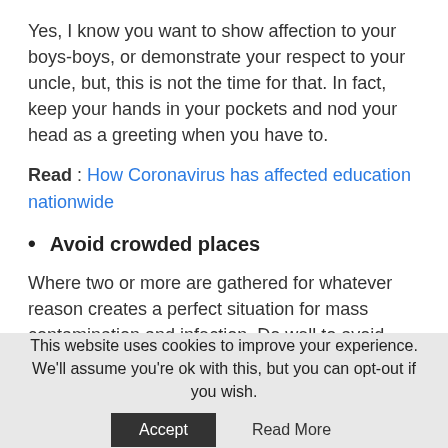Yes, I know you want to show affection to your boys-boys, or demonstrate your respect to your uncle, but, this is not the time for that. In fact, keep your hands in your pockets and nod your head as a greeting when you have to.
Read : How Coronavirus has affected education nationwide
Avoid crowded places
Where two or more are gathered for whatever reason creates a perfect situation for mass contamination and infection. Do well to avoid crowded places such as markets and event centres. Also, maintain a good distance from people who have been to crowded places.
This website uses cookies to improve your experience. We'll assume you're ok with this, but you can opt-out if you wish. Accept Read More